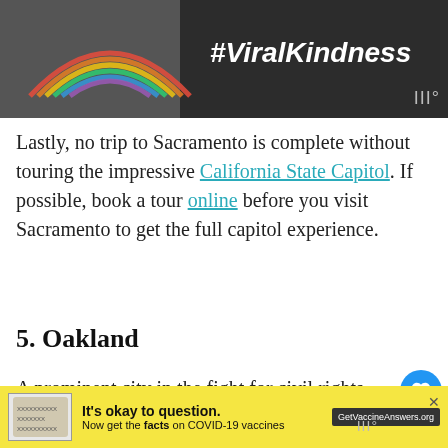[Figure (photo): Dark background image with a chalk-drawn rainbow and text '#ViralKindness' in white]
Lastly, no trip to Sacramento is complete without touring the impressive California State Capitol. If possible, book a tour online before you visit Sacramento to get the full capitol experience.
5. Oakland
A prominent city in the fight for civil rights, Oakland has long been an intellectual and cultural hub that's now becoming a must-see Bay Area destination. Although often overshadowed by nearby San Francisco, Oakland has a growing
[Figure (infographic): Bottom advertisement banner: yellow background with 'It's okay to question. Now get the facts on COVID-19 vaccines. GetVaccineAnswers.org']